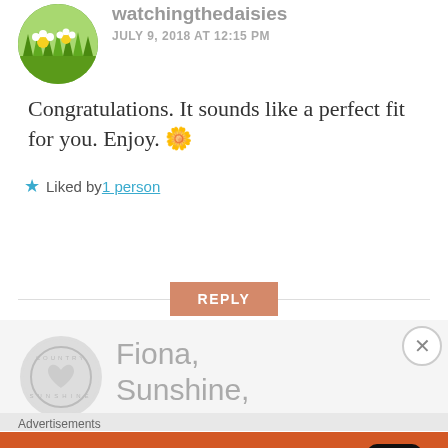watchingthedaisies
JULY 9, 2018 AT 12:15 PM
Congratulations. It sounds like a perfect fit for you. Enjoy. 🌼
★ Liked by 1 person
REPLY
Fiona, Sunshine,
Advertisements
Search, browse, and email with more privacy. All in One Free App DuckDuckGo.